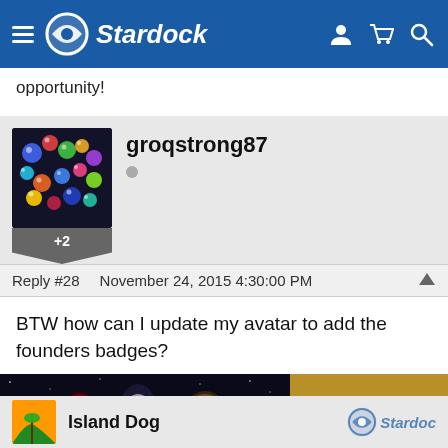Stardock
opportunity!
[Figure (screenshot): User avatar for groqstrong87 showing colorful orbs/eggs on dark background with +2 badge]
groqstrong87
Reply #28   November 24, 2015 4:30:00 PM
BTW how can I update my avatar to add the founders badges?
[Figure (photo): Galactic Civilizations III: Intrigue advertisement banner - NOW AVAILABLE POLITICS ON A GALACTIC SCALE]
Island Dog